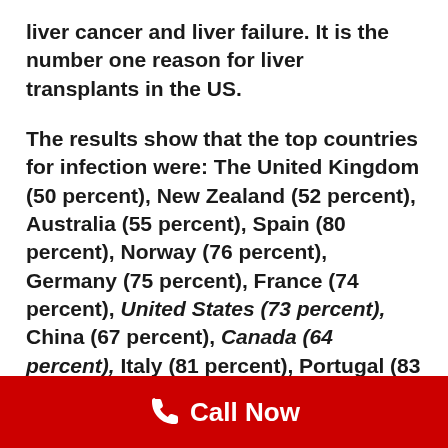liver cancer and liver failure. It is the number one reason for liver transplants in the US.
The results show that the top countries for infection were: The United Kingdom (50 percent), New Zealand (52 percent), Australia (55 percent), Spain (80 percent), Norway (76 percent), Germany (75 percent), France (74 percent), United States (73 percent), China (67 percent), Canada (64 percent), Italy (81 percent), Portugal (83 percent), Pakistan (84 percent), the Netherlands (86 percent), Thailand (90 percent) and Mexico (97 percent).
Call Now